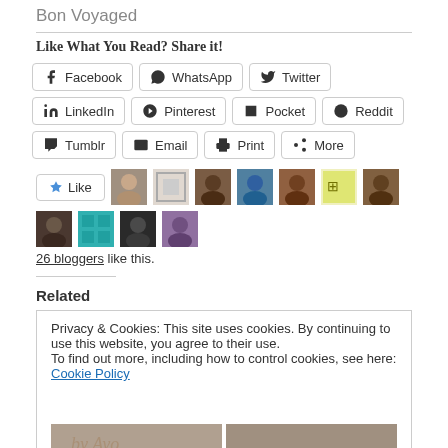Bon Voyaged
Like What You Read? Share it!
[Figure (screenshot): Social share buttons: Facebook, WhatsApp, Twitter, LinkedIn, Pinterest, Pocket, Reddit, Tumblr, Email, Print, More]
[Figure (screenshot): Like button with star icon and 11 blogger avatar thumbnails]
26 bloggers like this.
Related
Privacy & Cookies: This site uses cookies. By continuing to use this website, you agree to their use.
To find out more, including how to control cookies, see here: Cookie Policy
Close and accept
ON JUNE 12: IN CASE
YOU NEED A REMINDER
SOME MORE ADD ON
WOLE SOYINKA'S